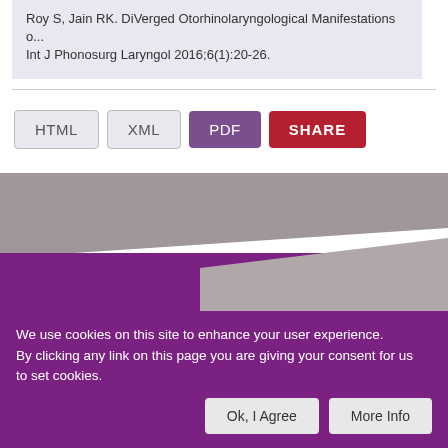Roy S, Jain RK. DiVerged Otorhinolaryngological Manifestations of... Int J Phonosurg Laryngol 2016;6(1):20-26.
[Figure (screenshot): UI buttons row: HTML (grey), XML (grey), PDF (purple), SHARE (red)]
[Figure (illustration): Decorative graphic banner with grey and purple geometric diagonal shapes on grey background]
We use cookies on this site to enhance your user experience. By clicking any link on this page you are giving your consent for us to set cookies.